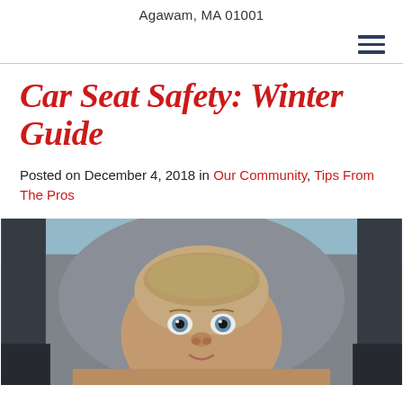Agawam, MA 01001
Car Seat Safety: Winter Guide
Posted on December 4, 2018 in Our Community, Tips From The Pros
[Figure (photo): A baby with blue eyes sitting in a car seat, photographed close-up in black and white tones with a light blue cover visible above]